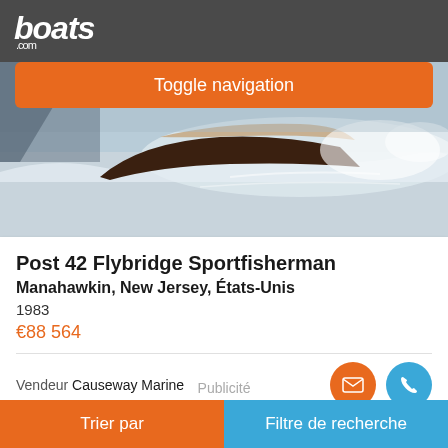boats.com
Toggle navigation
[Figure (photo): A speedboat cutting through water at high speed, with spray visible, photographed from low angle. Black and white/faded color photo.]
Post 42 Flybridge Sportfisherman
Manahawkin, New Jersey, États-Unis
1983
€88 564
Vendeur Causeway Marine
Publicité
Trier par
Filtre de recherche